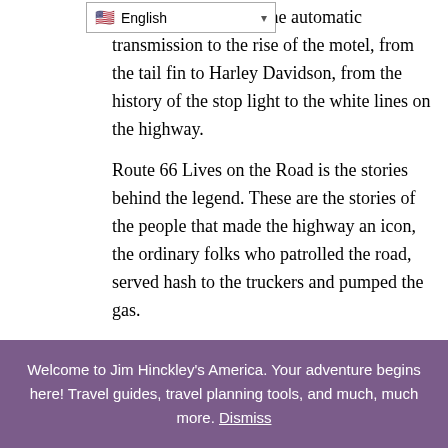[Figure (screenshot): Language selector dropdown showing flag and 'English' with dropdown arrow]
from the history of the automatic transmission to the rise of the motel, from the tail fin to Harley Davidson, from the history of the stop light to the white lines on the highway.
Route 66 Lives on the Road is the stories behind the legend. These are the stories of the people that made the highway an icon, the ordinary folks who patrolled the road, served hash to the truckers and pumped the gas.
Checker is as iconoclastic as Chevrolet or Route 66. Few, however, know the colorful history of this maverick company. This book covers it all from the companies inception in 1922 through its demise in 1982 and everything in between including the four wheel drive, four wheel steering Jeep prototype, the startling Model A of 1940, diesel engine experimentation in the
Privacy & Cookies: This site uses cookies. By continuing to use this website, you agree to their use.
To find out more, including how to control cookies, see here: Cookie Policy
Welcome to Jim Hinckley's America. Your adventure begins here! Travel guides, travel planning tools, and much, much more. Dismiss